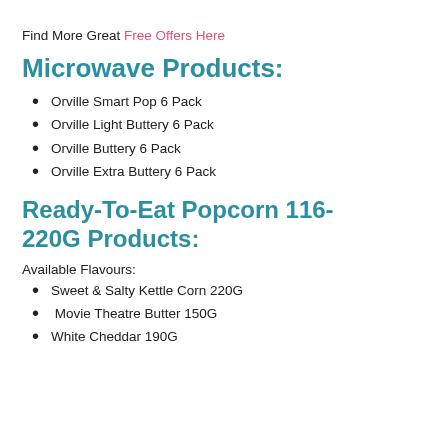Find More Great Free Offers Here
Microwave Products:
Orville Smart Pop 6 Pack
Orville Light Buttery 6 Pack
Orville Buttery 6 Pack
Orville Extra Buttery 6 Pack
Ready-To-Eat Popcorn 116-220G Products:
Available Flavours:
Sweet & Salty Kettle Corn 220G
Movie Theatre Butter 150G
White Cheddar 190G